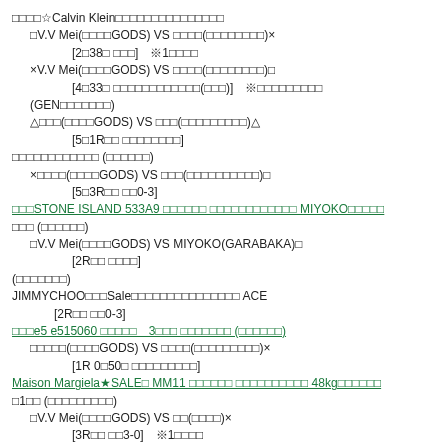□□□□☆Calvin Klein□□□□□□□□□□□□□□□
□V.V Mei(□□□□GODS) VS □□□□(□□□□□□□□)×
[2□38□ □□□]　※1□□□□
×V.V Mei(□□□□GODS) VS □□□□(□□□□□□□□)□
[4□33□ □□□□□□□□□□□□(□□□)]　※□□□□□□□□□
(GEN□□□□□□□)
△□□□(□□□□GODS) VS □□□(□□□□□□□□□)△
[5□1R□□ □□□□□□□□]
□□□□□□□□□□□□ (□□□□□□)
×□□□□(□□□□GODS) VS □□□(□□□□□□□□□□)□
[5□3R□□ □□0-3]
□□□STONE ISLAND 533A9 □□□□□□ □□□□□□□□□□□□ MIYOKO□□□□□
□□□ (□□□□□□)
□V.V Mei(□□□□GODS) VS MIYOKO(GARABAKA)□
[2R□□ □□□□]
(□□□□□□□)
JIMMYCHOO□□□Sale□□□□□□□□□□□□□□□ ACE
[2R□□ □□0-3]
□□□e5 e515060 □□□□□　3□□□ □□□□□□□ (□□□□□□)
□□□□□(□□□□GODS) VS □□□□(□□□□□□□□□)×
[1R 0□50□ □□□□□□□□□]
Maison Margiela★SALE□ MM11 □□□□□□ □□□□□□□□□□ 48kg□□□□□□
□1□□ (□□□□□□□□□)
□V.V Mei(□□□□GODS) VS □□(□□□□)×
[3R□□ □□3-0]　※1□□□□